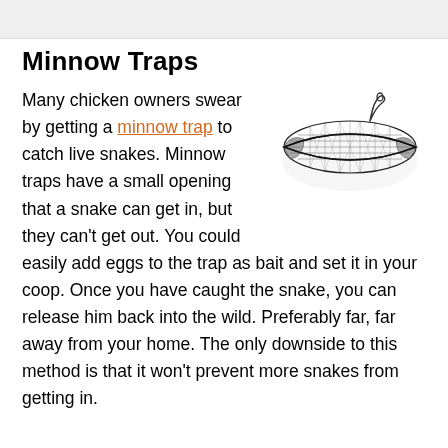Minnow Traps
[Figure (illustration): Black and white illustration of a cylindrical wire mesh minnow trap with funnel openings on each end and a clip at the top.]
Many chicken owners swear by getting a minnow trap to catch live snakes. Minnow traps have a small opening that a snake can get in, but they can't get out. You could easily add eggs to the trap as bait and set it in your coop. Once you have caught the snake, you can release him back into the wild. Preferably far, far away from your home. The only downside to this method is that it won't prevent more snakes from getting in.